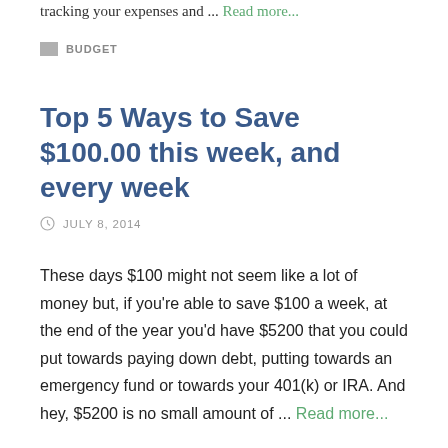tracking your expenses and ... Read more...
BUDGET
Top 5 Ways to Save $100.00 this week, and every week
JULY 8, 2014
These days $100 might not seem like a lot of money but, if you're able to save $100 a week, at the end of the year you'd have $5200 that you could put towards paying down debt, putting towards an emergency fund or towards your 401(k) or IRA. And hey, $5200 is no small amount of ... Read more...